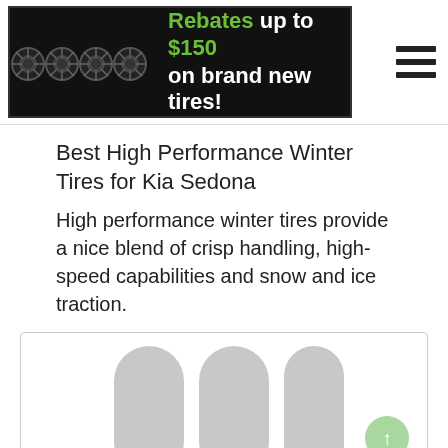[Figure (screenshot): Website banner showing four black wheels/tires on the left and text 'Rebates up to $150 on brand new tires!' with green and white text on dark background, plus a hamburger menu icon on the right.]
Best High Performance Winter Tires for Kia Sedona
High performance winter tires provide a nice blend of crisp handling, high-speed capabilities and snow and ice traction.
[Figure (photo): Image unavailable placeholder with two light grey arch/column shapes and text 'Image unavailable' centered.]